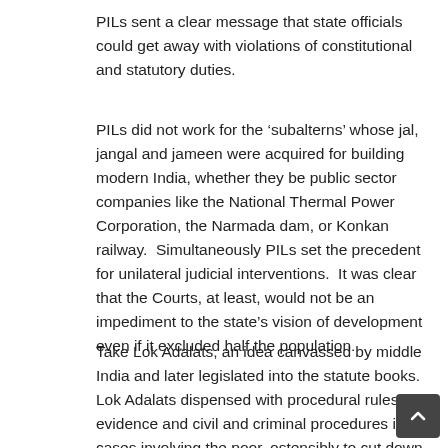PILs sent a clear message that state officials could get away with violations of constitutional and statutory duties.
PILs did not work for the ‘subalterns’ whose jal, jangal and jameen were acquired for building modern India, whether they be public sector companies like the National Thermal Power Corporation, the Narmada dam, or Konkan railway.  Simultaneously PILs set the precedent for unilateral judicial interventions.  It was clear that the Courts, at least, would not be an impediment to the state’s vision of development even if it excluded half the population.
Take Lok Adalats, an idea canvassed by middle India and later legislated into the statute books.  Lok Adalats dispensed with procedural rules of evidence and civil and criminal procedures in cases involving the poor, ostensibly to cut down backlog of cases and expedite justice to the poor.  In effect, it entrenched a system in which different procedures would be followed for the